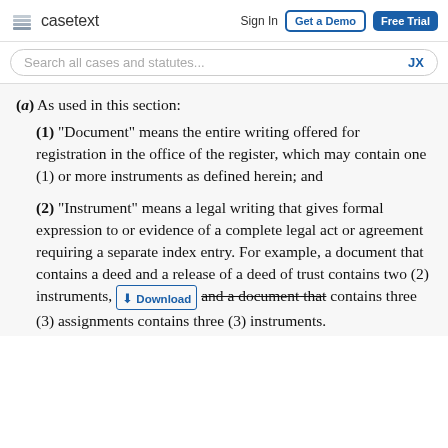casetext  Sign In  Get a Demo  Free Trial
Search all cases and statutes...  JX
(a) As used in this section:
(1) “Document” means the entire writing offered for registration in the office of the register, which may contain one (1) or more instruments as defined herein; and
(2) “Instrument” means a legal writing that gives formal expression to or evidence of a complete legal act or agreement requiring a separate index entry. For example, a document that contains a deed and a release of a deed of trust contains two (2) instruments, and a document that contains three (3) assignments contains three (3) instruments.